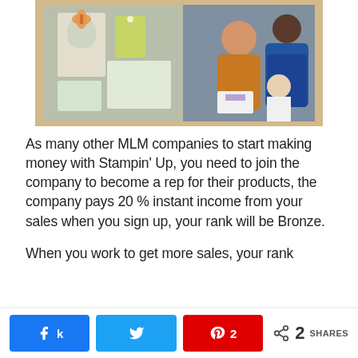[Figure (photo): A collage image showing crafting cards and papers on the left, and a Stampin' Up demonstrator in a blue apron showing products to a woman and child on the right, framed in a tan/wood-colored border.]
As many other MLM companies to start making money with Stampin' Up, you need to join the company to become a rep for their products, the company pays 20 % instant income from your sales when you sign up, your rank will be Bronze.
When you work to get more sales, your rank
Share buttons: Facebook, Twitter, Pinterest (2 shares)